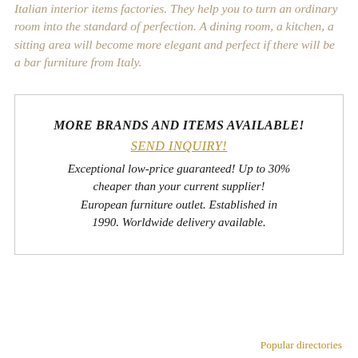Italian interior items factories. They help you to turn an ordinary room into the standard of perfection. A dining room, a kitchen, a sitting area will become more elegant and perfect if there will be a bar furniture from Italy.
MORE BRANDS AND ITEMS AVAILABLE! SEND INQUIRY! Exceptional low-price guaranteed! Up to 30% cheaper than your current supplier! European furniture outlet. Established in 1990. Worldwide delivery available.
Popular directories